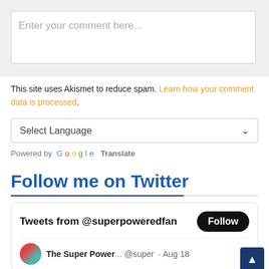[Figure (screenshot): Comment text input box with placeholder text 'Enter your comment here...' on a light grey background]
This site uses Akismet to reduce spam. Learn how your comment data is processed.
[Figure (screenshot): Select Language dropdown widget]
Powered by Google Translate
Follow me on Twitter
[Figure (screenshot): Twitter widget showing 'Tweets from @superpoweredfan' with a Follow button and a tweet row with The Super Power avatar, @super handle, and Aug 18 date]